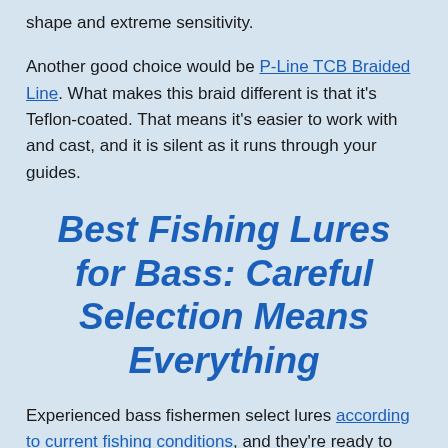shape and extreme sensitivity.
Another good choice would be P-Line TCB Braided Line. What makes this braid different is that it's Teflon-coated. That means it's easier to work with and cast, and it is silent as it runs through your guides.
Best Fishing Lures for Bass: Careful Selection Means Everything
Experienced bass fishermen select lures according to current fishing conditions, and they're ready to switch when conditions change. This section covers four lure categories that, as a group, address practically every